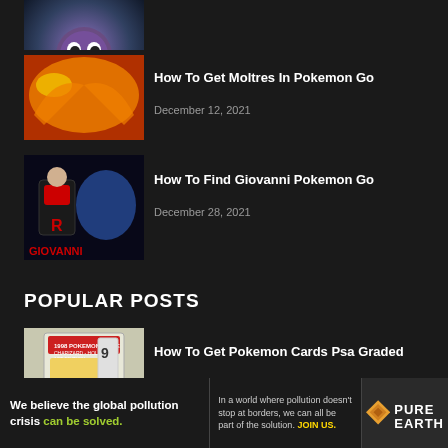[Figure (photo): Partial thumbnail of Gastly Pokemon at the top, partially cropped]
[Figure (photo): Thumbnail image for 'How To Get Moltres In Pokemon Go' showing Pokemon Go artwork with Moltres]
How To Get Moltres In Pokemon Go
December 12, 2021
[Figure (photo): Thumbnail image for 'How To Find Giovanni Pokemon Go' showing Giovanni character with Pokemon Go branding]
How To Find Giovanni Pokemon Go
December 28, 2021
POPULAR POSTS
[Figure (photo): Thumbnail image for 'How To Get Pokemon Cards Psa Graded' showing a PSA graded Pokemon card]
How To Get Pokemon Cards Psa Graded
December 11, 2021
[Figure (infographic): Pure Earth advertisement banner: 'We believe the global pollution crisis can be solved.' with tagline 'In a world where pollution doesn't stop at borders, we can all be part of the solution. JOIN US.' and Pure Earth logo]